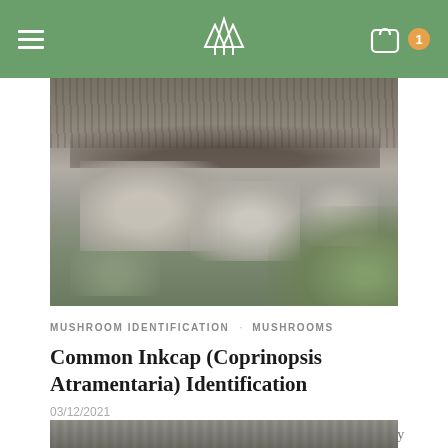Navigation bar with hamburger menu, tree logo, bag icon and badge (1)
[Figure (photo): Close-up photograph of Common Inkcap mushroom gills and cap from below, with blurred green background]
MUSHROOM IDENTIFICATION   MUSHROOMS
Common Inkcap (Coprinopsis Atramentaria) Identification
03/12/2021
Common Inkcap / All Year Round / Toxic Description  An easy to identify mushroom, they are very comm…
[Figure (photo): Bottom cropped photo of another mushroom, partially visible at the bottom of the page]